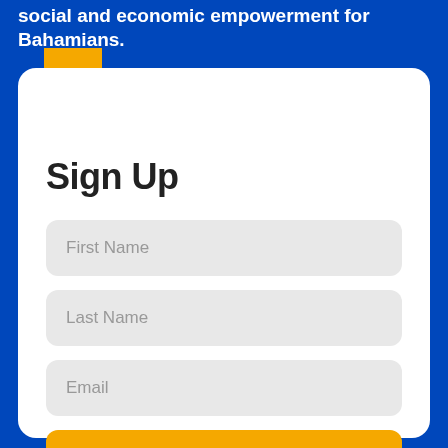social and economic empowerment for Bahamians.
[Figure (illustration): Gold bookmark ribbon icon]
Sign Up
First Name
Last Name
Email
SUBSCRIBE